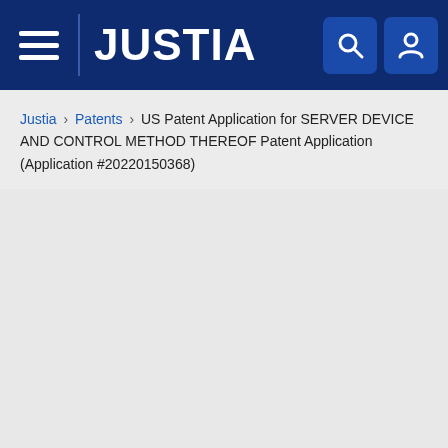JUSTIA
Justia › Patents › US Patent Application for SERVER DEVICE AND CONTROL METHOD THEREOF Patent Application (Application #20220150368)